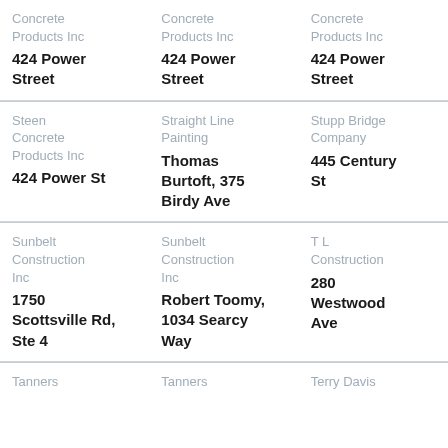| Concrete Products Inc
424 Power Street | Concrete Products Inc
424 Power Street | Concrete Products Inc
424 Power Street |
| Steen Concrete Products Inc
424 Power St | Straight Line Painting
Thomas Burtoft, 375 Birdy Ave | Stupp Bridge Company
445 Century St |
| Sunbelt Construction Inc
1750 Scottsville Rd, Ste 4 | Sunbelt Construction Inc
Robert Toomy, 1034 Searcy Way | T L Construction
280 Westwood Ave |
| Tanners | Tanners | Terry Davis |